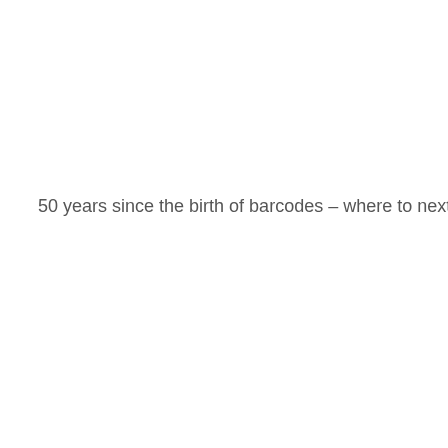50 years since the birth of barcodes – where to next?